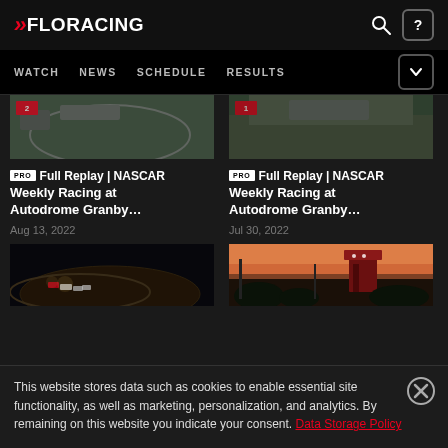FLORACING — WATCH | NEWS | SCHEDULE | RESULTS
[Figure (screenshot): Thumbnail of racing track overhead view, partially cropped at top]
[Figure (screenshot): Thumbnail of racing event pit area, partially cropped at top]
PRO Full Replay | NASCAR Weekly Racing at Autodrome Granby...
Aug 13, 2022
PRO Full Replay | NASCAR Weekly Racing at Autodrome Granby...
Jul 30, 2022
[Figure (screenshot): Night racing thumbnail showing cars on dirt track]
[Figure (screenshot): Sunset racing venue thumbnail with red tower structure]
This website stores data such as cookies to enable essential site functionality, as well as marketing, personalization, and analytics. By remaining on this website you indicate your consent. Data Storage Policy